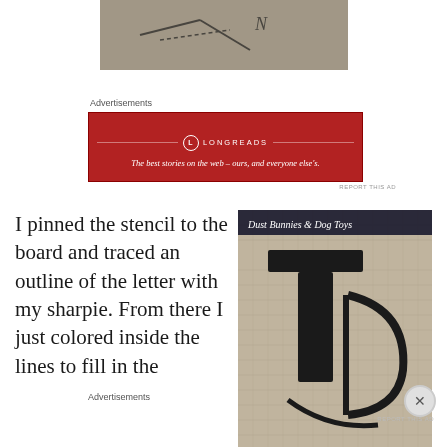[Figure (photo): Close-up photo of burlap fabric with dark ink letters/stencil marks visible, showing partial letter outlines]
Advertisements
[Figure (other): Longreads advertisement banner in red: 'The best stories on the web – ours, and everyone else's.']
REPORT THIS AD
I pinned the stencil to the board and traced an outline of the letter with my sharpie. From there I just colored inside the lines to fill in the
[Figure (photo): Close-up photo of burlap fabric with dark ink letter T stenciled on it, watermark reading 'Dust Bunnies & Dog Toys' in upper right]
Advertisements
REPORT THIS AD